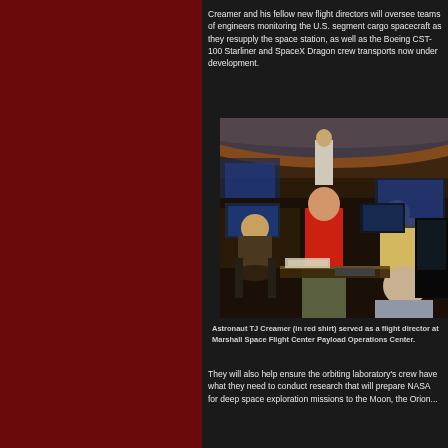Creamer and his fellow new flight directors will oversee teams of engineers monitoring the U.S. segment cargo spacecraft as they resupply the space station, as well as the Boeing CST-100 Starliner and SpaceX Dragon crew transports now under development.
[Figure (photo): Astronaut TJ Creamer in a red shirt standing in a mission control room with multiple monitors and engineers at workstations, with a large panoramic display of Earth from orbit in the background.]
Astronaut TJ Creamer (in red shirt) served as a flight director at Marshall Space Flight Center Payload Operations Center.
They will also help ensure the orbiting laboratory's crew have what they need to conduct research that will prepare NASA for deep space exploration missions to the Moon, the Orion...